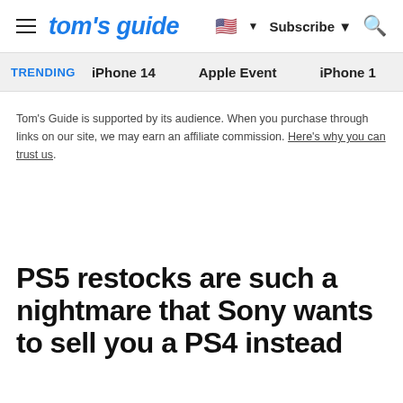tom's guide — Subscribe — Search
TRENDING  iPhone 14  Apple Event  iPhone 1
Tom's Guide is supported by its audience. When you purchase through links on our site, we may earn an affiliate commission. Here's why you can trust us.
PS5 restocks are such a nightmare that Sony wants to sell you a PS4 instead